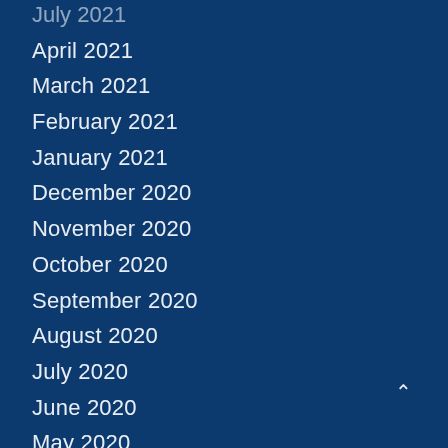April 2021
March 2021
February 2021
January 2021
December 2020
November 2020
October 2020
September 2020
August 2020
July 2020
June 2020
May 2020
April 2020
March 2020